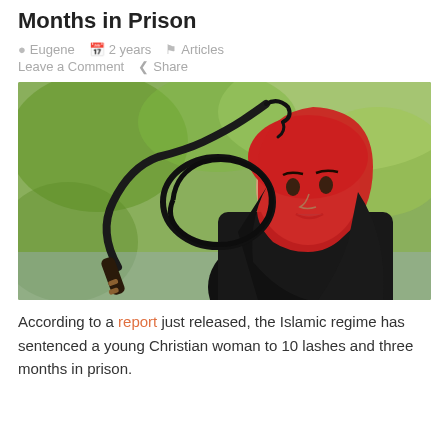Christian Woman to 10 Lashes and 3 Months in Prison
Eugene  2 years  Articles  Leave a Comment  Share
[Figure (photo): Young woman wearing a red headscarf and black clothing, with a black whip/lash overlaid in the foreground, against a blurred outdoor background.]
According to a report just released, the Islamic regime has sentenced a young Christian woman to 10 lashes and three months in prison.